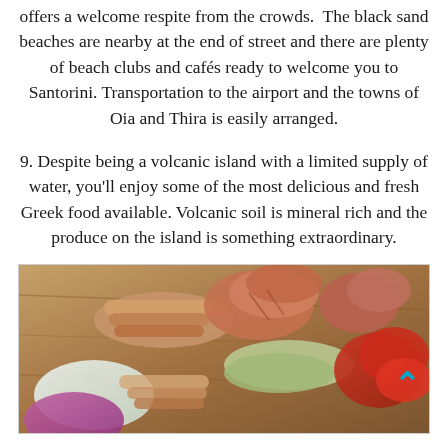offers a welcome respite from the crowds.  The black sand beaches are nearby at the end of street and there are plenty of beach clubs and cafés ready to welcome you to Santorini. Transportation to the airport and the towns of Oia and Thira is easily arranged.
9. Despite being a volcanic island with a limited supply of water, you'll enjoy some of the most delicious and fresh Greek food available. Volcanic soil is mineral rich and the produce on the island is something extraordinary.
[Figure (photo): A food platter with Greek mezze including grilled meats, vegetables, tomatoes, and dips on a wooden board]